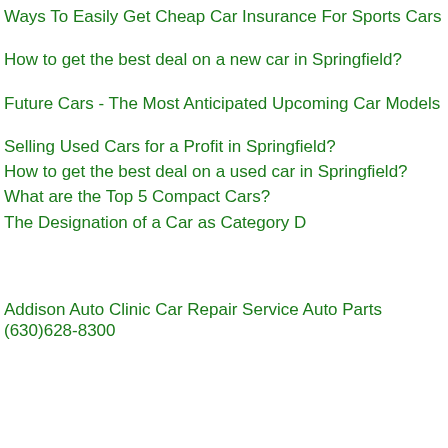Ways To Easily Get Cheap Car Insurance For Sports Cars
How to get the best deal on a new car in Springfield?
Future Cars - The Most Anticipated Upcoming Car Models
Selling Used Cars for a Profit in Springfield?
How to get the best deal on a used car in Springfield?
What are the Top 5 Compact Cars?
The Designation of a Car as Category D
Addison Auto Clinic Car Repair Service Auto Parts (630)628-8300